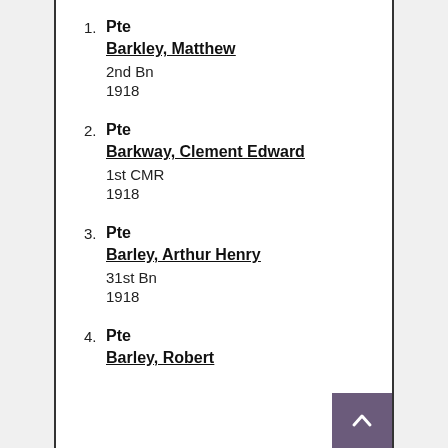1. Pte Barkley, Matthew 2nd Bn 1918
2. Pte Barkway, Clement Edward 1st CMR 1918
3. Pte Barley, Arthur Henry 31st Bn 1918
4. Pte Barley, Robert